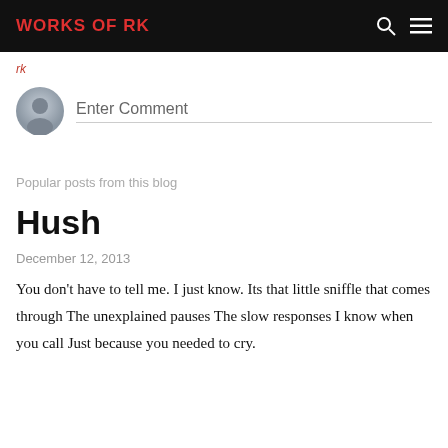WORKS OF RK
Enter Comment
Popular posts from this blog
Hush
December 12, 2013
You don't have to tell me. I just know. Its that little sniffle that comes through The unexplained pauses The slow responses I know when you call Just because you needed to cry.